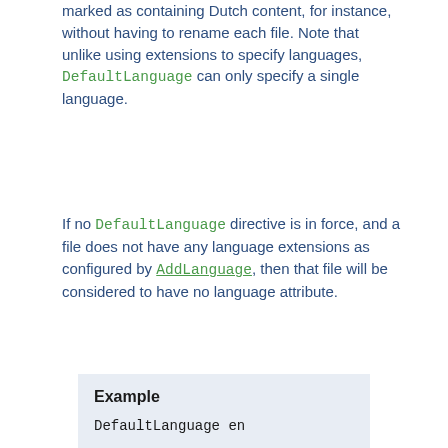marked as containing Dutch content, for instance, without having to rename each file. Note that unlike using extensions to specify languages, DefaultLanguage can only specify a single language.
If no DefaultLanguage directive is in force, and a file does not have any language extensions as configured by AddLanguage, then that file will be considered to have no language attribute.
Example
DefaultLanguage en